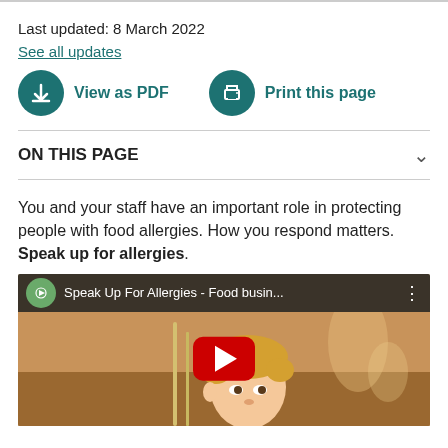Last updated: 8 March 2022
See all updates
[Figure (infographic): Two action buttons: 'View as PDF' with download icon and 'Print this page' with printer icon, both in teal/dark green color]
ON THIS PAGE
You and your staff have an important role in protecting people with food allergies. How you respond matters. Speak up for allergies.
[Figure (screenshot): YouTube video thumbnail for 'Speak Up For Allergies - Food busin...' showing an animated cartoon character with blonde hair in a restaurant setting, with a red YouTube play button overlay]